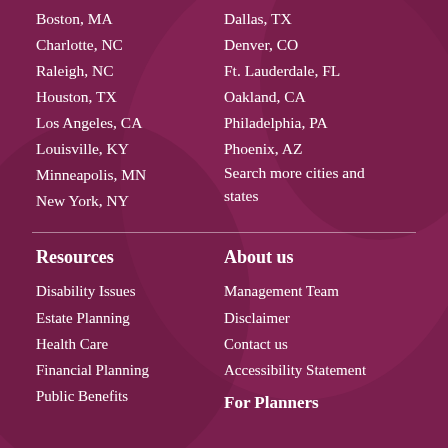Boston, MA
Charlotte, NC
Raleigh, NC
Houston, TX
Los Angeles, CA
Louisville, KY
Minneapolis, MN
New York, NY
Dallas, TX
Denver, CO
Ft. Lauderdale, FL
Oakland, CA
Philadelphia, PA
Phoenix, AZ
Search more cities and states
Resources
Disability Issues
Estate Planning
Health Care
Financial Planning
Public Benefits
About us
Management Team
Disclaimer
Contact us
Accessibility Statement
For Planners